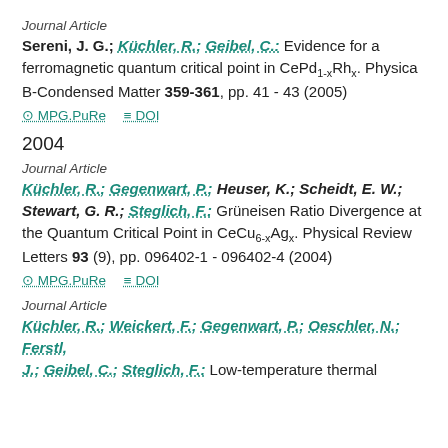Journal Article
Sereni, J. G.; Küchler, R.; Geibel, C.: Evidence for a ferromagnetic quantum critical point in CePd1-xRhx. Physica B-Condensed Matter 359-361, pp. 41 - 43 (2005)
⊙ MPG.PuRe   ≡ DOI
2004
Journal Article
Küchler, R.; Gegenwart, P.; Heuser, K.; Scheidt, E. W.; Stewart, G. R.; Steglich, F.: Grüneisen Ratio Divergence at the Quantum Critical Point in CeCu6-xAgx. Physical Review Letters 93 (9), pp. 096402-1 - 096402-4 (2004)
⊙ MPG.PuRe   ≡ DOI
Journal Article
Küchler, R.; Weickert, F.; Gegenwart, P.; Oeschler, N.; Ferstl, J.; Geibel, C.; Steglich, F.: Low-temperature thermal